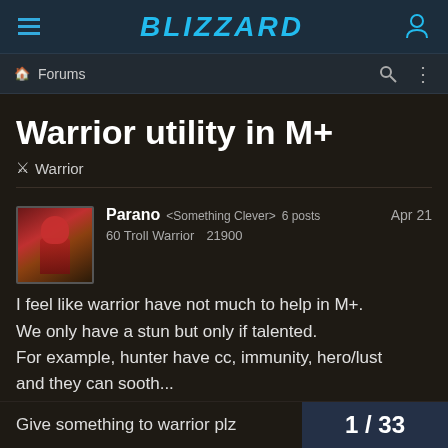Blizzard Forums navigation bar with hamburger menu, BLIZZARD logo, and user icon
Forums
Warrior utility in M+
⚔ Warrior
Parano <Something Clever> 6 posts  Apr 21  60 Troll Warrior  21900
I feel like warrior have not much to help in M+. We only have a stun but only if talented. For example, hunter have cc, immunity, hero/lust and they can sooth...
Give something to warrior plz   1 / 33